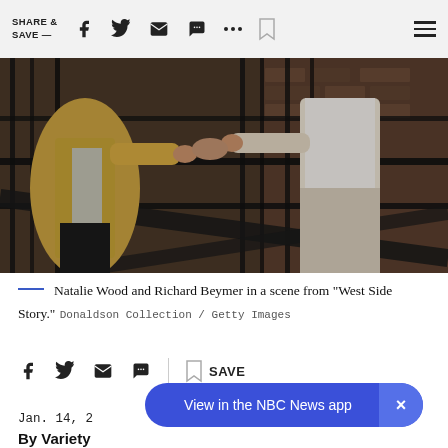SHARE & SAVE —
[Figure (photo): Natalie Wood and Richard Beymer holding hands through iron gate bars on a fire escape in a scene from West Side Story. Black and white iron railings prominent. One figure in tan jacket, one in white dress.]
Natalie Wood and Richard Beymer in a scene from "West Side Story." Donaldson Collection / Getty Images
SAVE
Jan. 14,
By Variety
View in the NBC News app